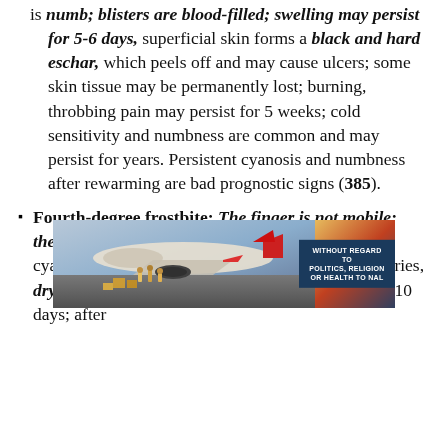is numb; blisters are blood-filled; swelling may persist for 5-6 days, superficial skin forms a black and hard eschar, which peels off and may cause ulcers; some skin tissue may be permanently lost; burning, throbbing pain may persist for 5 weeks; cold sensitivity and numbness are common and may persist for years. Persistent cyanosis and numbness after rewarming are bad prognostic signs (385).
Fourth-degree frostbite: The finger is not mobile; there is no swelling or blisters. After reheating, cyanotic color appears. In freeze-thaw-refreeze injuries, dry gangrene with mummification occurs within 5-10 days; after
[Figure (photo): Advertisement photo showing an airplane being loaded with cargo, with a dark blue banner overlay on the right side reading 'WITHOUT REGARD TO POLITICS, RELIGION OR HEALTH TO NAL']